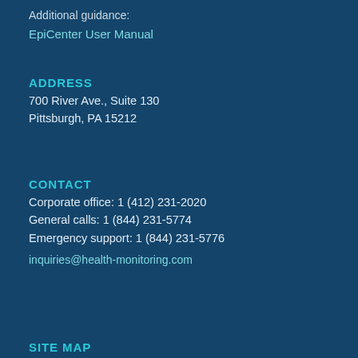Additional guidance:
EpiCenter User Manual
ADDRESS
700 River Ave., Suite 130
Pittsburgh, PA 15212
CONTACT
Corporate office: 1 (412) 231-2020
General calls: 1 (844) 231-5774
Emergency support: 1 (844) 231-5776
inquiries@health-monitoring.com
SITE MAP